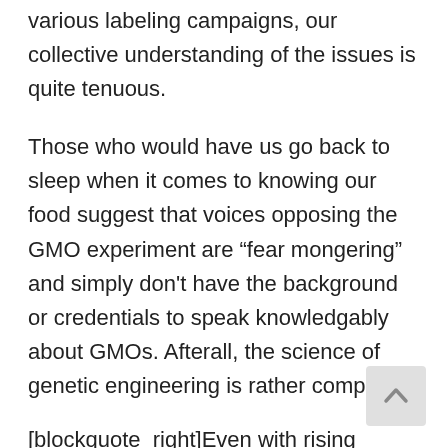various labeling campaigns, our collective understanding of the issues is quite tenuous.
Those who would have us go back to sleep when it comes to knowing our food suggest that voices opposing the GMO experiment are “fear mongering” and simply don’t have the background or credentials to speak knowledgably about GMOs. Afterall, the science of genetic engineering is rather complex.
[blockquote_right]Even with rising awareness due to years of education by civil society organizations, organic producers, and now various labeling campaigns, our collective understanding of the issues is quite tenuous. [/blockquote_right]
So just what do you and your family need to know